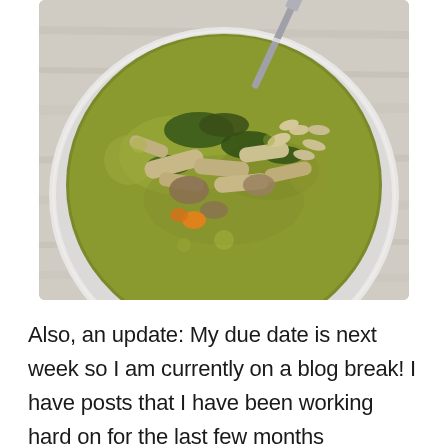[Figure (photo): Overhead close-up photo of a white bowl of soup containing shredded chicken, vegetables including carrots, greens, and broth, with a fork visible at the top, placed on a light wooden surface.]
Also, an update: My due date is next week so I am currently on a blog break! I have posts that I have been working hard on for the last few months scheduled to post twice a week throughout November and December. I will check in on comments and emails every now